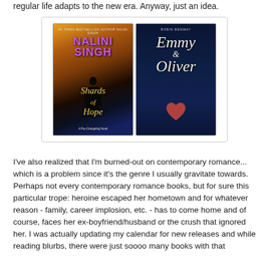regular life adapts to the new era. Anyway, just an idea.
[Figure (photo): Two book covers side by side: left is 'Shards of Hope' by Nalini Singh (Psy-Changeling Novel), right is 'Emmy & Oliver' by Robin Benway, with a heart image at the bottom.]
I've also realized that I'm burned-out on contemporary romance... which is a problem since it's the genre I usually gravitate towards. Perhaps not every contemporary romance books, but for sure this particular trope: heroine escaped her hometown and for whatever reason - family, career implosion, etc. - has to come home and of course, faces her ex-boyfriend/husband or the crush that ignored her. I was actually updating my calendar for new releases and while reading blurbs, there were just soooo many books with that trope. It seems books that portray a new environment, the city, and